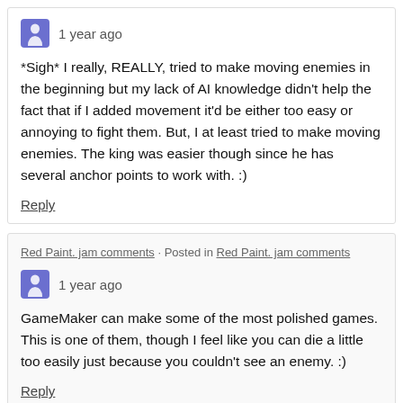1 year ago
*Sigh* I really, REALLY, tried to make moving enemies in the beginning but my lack of AI knowledge didn't help the fact that if I added movement it'd be either too easy or annoying to fight them. But, I at least tried to make moving enemies. The king was easier though since he has several anchor points to work with. :)
Reply
Red Paint. jam comments · Posted in Red Paint. jam comments
1 year ago
GameMaker can make some of the most polished games. This is one of them, though I feel like you can die a little too easily just because you couldn't see an enemy. :)
Reply